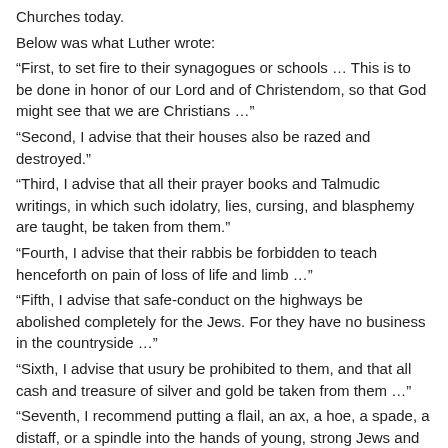Churches today.
Below was what Luther wrote:
“First, to set fire to their synagogues or schools … This is to be done in honor of our Lord and of Christendom, so that God might see that we are Christians …”
“Second, I advise that their houses also be razed and destroyed.”
“Third, I advise that all their prayer books and Talmudic writings, in which such idolatry, lies, cursing, and blasphemy are taught, be taken from them.”
“Fourth, I advise that their rabbis be forbidden to teach henceforth on pain of loss of life and limb …”
“Fifth, I advise that safe-conduct on the highways be abolished completely for the Jews. For they have no business in the countryside …”
“Sixth, I advise that usury be prohibited to them, and that all cash and treasure of silver and gold be taken from them …”
“Seventh, I recommend putting a flail, an ax, a hoe, a spade, a distaff, or a spindle into the hands of young, strong Jews and Jewesses and letting them earn their bread in the sweat of their brow … But if we are afraid that they might harm us or our wives, children, servants, cattle,